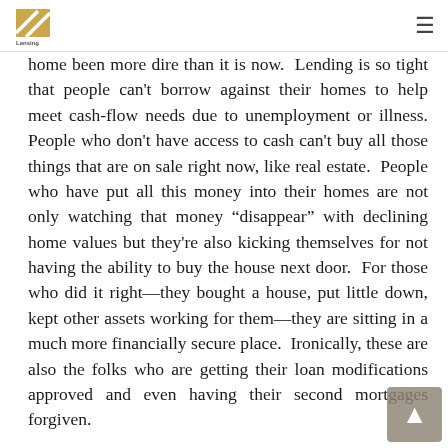Lansing Financial [logo] [hamburger menu]
home been more dire than it is now.  Lending is so tight that people can't borrow against their homes to help meet cash-flow needs due to unemployment or illness. People who don't have access to cash can't buy all those things that are on sale right now, like real estate.  People who have put all this money into their homes are not only watching that money “disappear” with declining home values but they're also kicking themselves for not having the ability to buy the house next door.  For those who did it right—they bought a house, put little down, kept other assets working for them—they are sitting in a much more financially secure place.  Ironically, these are also the folks who are getting their loan modifications approved and even having their second mortgages forgiven.

Am I glad I told clients that cash was king and to sock their
[Figure (logo): Lansing Financial logo with diagonal stripe design and company name below]
[Figure (other): Back to top button with upward arrow, gray background]